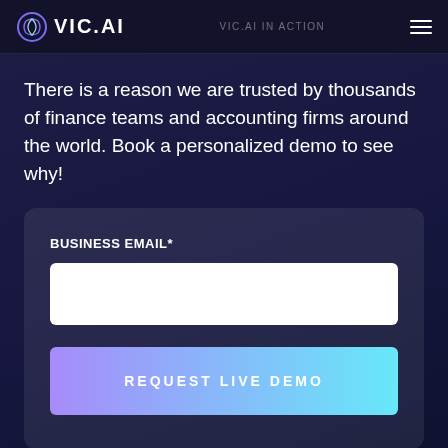VIC.AI — VIC.AI IN ACTION
There is a reason we are trusted by thousands of finance teams and accounting firms around the world. Book a personalized demo to see why!
BUSINESS EMAIL*
[Figure (screenshot): Email input text field, white/empty]
[Figure (screenshot): REQUEST LIVE DEMO button with purple-to-cyan gradient]